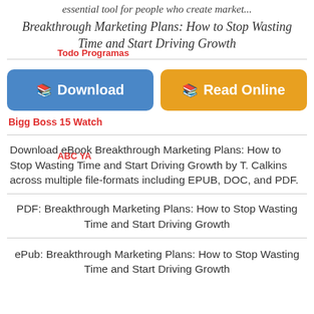essential tool for people who create market...
Breakthrough Marketing Plans: How to Stop Wasting Time and Start Driving Growth
[Figure (other): Download and Read Online buttons for ebook]
Bigg Boss 15 Watch
Download eBook Breakthrough Marketing Plans: How to Stop Wasting Time and Start Driving Growth by T. Calkins across multiple file-formats including EPUB, DOC, and PDF.
PDF: Breakthrough Marketing Plans: How to Stop Wasting Time and Start Driving Growth
ePub: Breakthrough Marketing Plans: How to Stop Wasting Time and Start Driving Growth